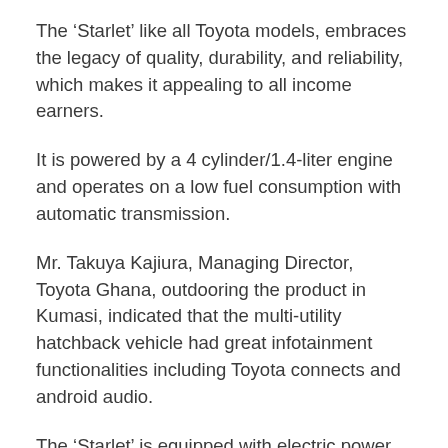The ‘Starlet’ like all Toyota models, embraces the legacy of quality, durability, and reliability, which makes it appealing to all income earners.
It is powered by a 4 cylinder/1.4-liter engine and operates on a low fuel consumption with automatic transmission.
Mr. Takuya Kajiura, Managing Director, Toyota Ghana, outdooring the product in Kumasi, indicated that the multi-utility hatchback vehicle had great infotainment functionalities including Toyota connects and android audio.
The ‘Starlet’ is equipped with electric power steering, dual 12-volt power outlets, electric windows, tilt-adjustable steering column, reverse-view camera with parking sensors, and 60/40 split rear seats among other advanced functionalities.
According to the Manager Director, the product was